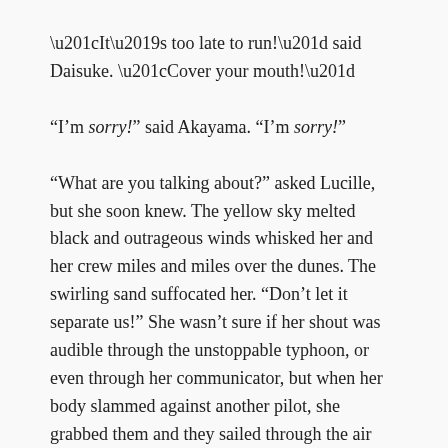“It’s too late to run!” said Daisuke. “Cover your mouth!”
“I’m sorry!” said Akayama. “I’m sorry!”
“What are you talking about?” asked Lucille, but she soon knew. The yellow sky melted black and outrageous winds whisked her and her crew miles and miles over the dunes. The swirling sand suffocated her. “Don’t let it separate us!” She wasn’t sure if her shout was audible through the unstoppable typhoon, or even through her communicator, but when her body slammed against another pilot, she grabbed them and they sailed through the air together.